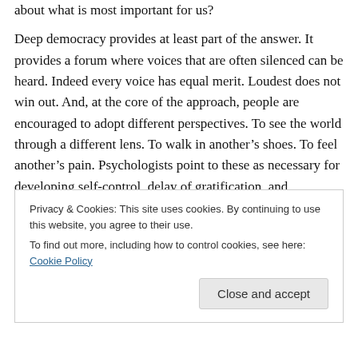about what is most important for us?
Deep democracy provides at least part of the answer. It provides a forum where voices that are often silenced can be heard. Indeed every voice has equal merit. Loudest does not win out. And, at the core of the approach, people are encouraged to adopt different perspectives. To see the world through a different lens. To walk in another’s shoes. To feel another’s pain. Psychologists point to these as necessary for developing self-control, delay of gratification, and establishing empathy (see Steven Pinker’s The Better Angels of Our Nature).
Privacy & Cookies: This site uses cookies. By continuing to use this website, you agree to their use.
To find out more, including how to control cookies, see here: Cookie Policy
Close and accept